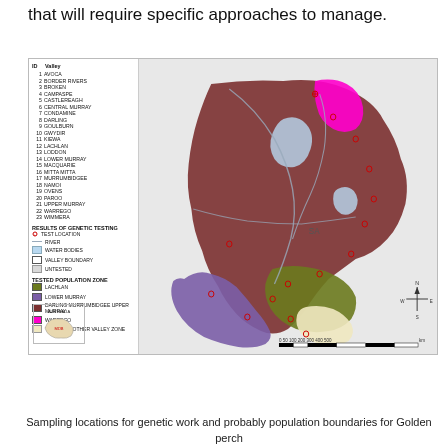that will require specific approaches to manage.
[Figure (map): Map of Golden perch sampling locations and genetic testing population zones across Murray-Darling Basin valleys in Australia. Includes a legend with valley IDs 1-23, results of genetic testing (test locations, river, water bodies, valley boundary, untested), and tested population zones (Lachlan, Lower Murray, Darling/Murrumbidgee/Upper Murray, Warrego, Tested in Other Valley Zone). A compass rose and scale bar are shown.]
Sampling locations for genetic work and probably population boundaries for Golden perch